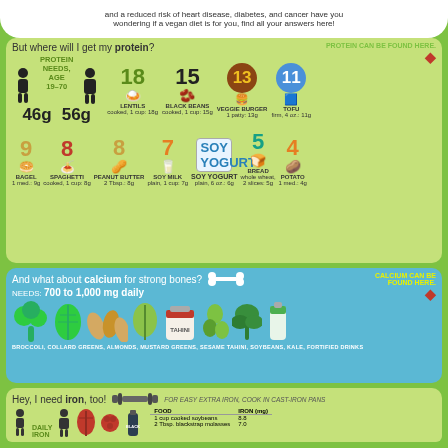and a reduced risk of heart disease, diabetes, and cancer have you wondering if a vegan diet is for you, find all your answers here!
But where will I get my protein?
PROTEIN CAN BE FOUND HERE.
[Figure (infographic): Protein needs for age 19-70: 46g for women, 56g for men. Food sources with protein content: Lentils cooked 1 cup 18g, Black Beans cooked 1 cup 15g, Veggie Burger 1 patty 13g, Tofu firm 4oz 11g, Bagel 1 med 9g, Spaghetti cooked 1 cup 8g, Peanut Butter 2 Tbsp 8g, Soy Milk plain 1 cup 7g, Soy Yogurt plain 6oz 6g, Bread whole wheat 2 slices 5g, Potato 1 med 4g]
And what about calcium for strong bones?
CALCIUM CAN BE FOUND HERE.
NEEDS: 700 to 1,000 mg daily
[Figure (infographic): Calcium food sources illustrated: broccoli, collard greens, almonds, mustard greens, sesame tahini, soybeans, kale, fortified drinks]
BROCCOLI, COLLARD GREENS, ALMONDS, MUSTARD GREENS, SESAME TAHINI, SOYBEANS, KALE, FORTIFIED DRINKS
Hey, I need iron, too!
FOR EASY EXTRA IRON, COOK IN CAST-IRON PANS
DAILY IRON
| FOOD | IRON (mg) |
| --- | --- |
| 1 cup cooked soybeans | 8.8 |
| 2 Tbsp. blackstrap molasses | 7.0 |